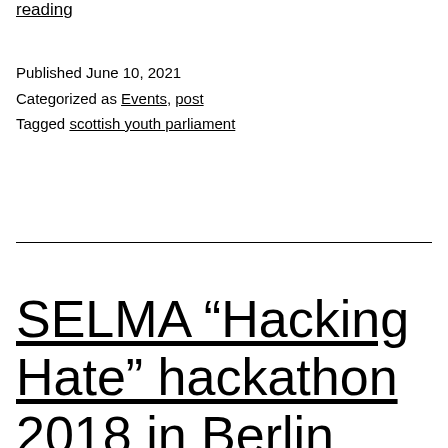reading
Published June 10, 2021
Categorized as Events, post
Tagged scottish youth parliament
SELMA “Hacking Hate” hackathon 2018 in Berlin